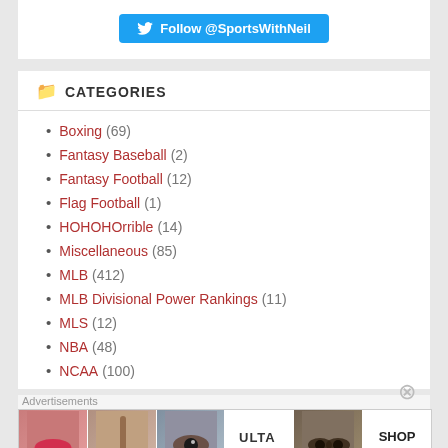[Figure (other): Twitter follow button: Follow @SportsWithNeil]
CATEGORIES
Boxing (69)
Fantasy Baseball (2)
Fantasy Football (12)
Flag Football (1)
HOHOHOrrible (14)
Miscellaneous (85)
MLB (412)
MLB Divisional Power Rankings (11)
MLS (12)
NBA (48)
NCAA (100)
[Figure (other): Ulta beauty advertisement banner with makeup/cosmetics imagery and SHOP NOW text]